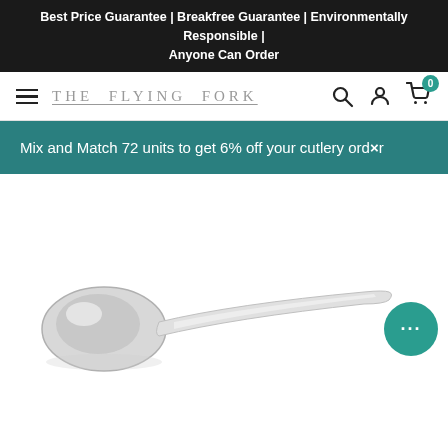Best Price Guarantee | Breakfree Guarantee | Environmentally Responsible | Anyone Can Order
THE FLYING FORK
Mix and Match 72 units to get 6% off your cutlery order
[Figure (photo): A silver stainless steel spoon with a rounded bowl and flat handle, photographed on a white background. A teal circular chat button with ellipsis icon appears in the bottom right.]